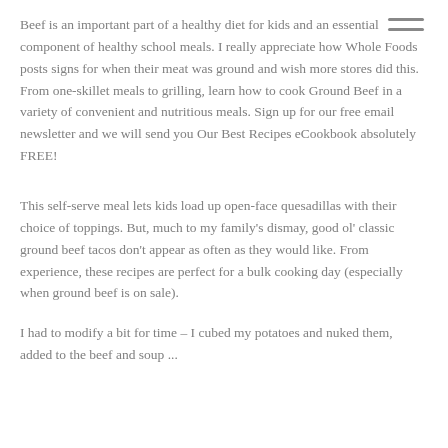Beef is an important part of a healthy diet for kids and an essential component of healthy school meals. I really appreciate how Whole Foods posts signs for when their meat was ground and wish more stores did this. From one-skillet meals to grilling, learn how to cook Ground Beef in a variety of convenient and nutritious meals. Sign up for our free email newsletter and we will send you Our Best Recipes eCookbook absolutely FREE!
This self-serve meal lets kids load up open-face quesadillas with their choice of toppings. But, much to my family's dismay, good ol' classic ground beef tacos don't appear as often as they would like. From experience, these recipes are perfect for a bulk cooking day (especially when ground beef is on sale).
I had to modify a bit for time – I cubed my potatoes and nuked them, added to the beef and soup ...